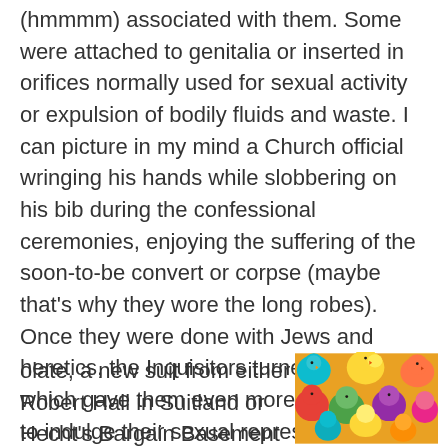(hmmmm) associated with them. Some were attached to genitalia or inserted in orifices normally used for sexual activity or expulsion of bodily fluids and waste. I can picture in my mind a Church official wringing his hands while slobbering on his bib during the confessional ceremonies, enjoying the suffering of the soon-to-be convert or corpse (maybe that's why they wore the long robes). Once they were done with Jews and heretics, the Inquisitors turned to witches, which gave them even more opportunity to indulge their sexual repression.
As a youngster, Easter meant coloring eggs, eating choc olate, a new suit from either Robert Hall in Suitland or Hecht's Bargain Basement in Marlow Heights, those colored chicks from the 5 & 10 in
[Figure (photo): Photograph of colorful dyed baby chicks in various bright colors including blue, yellow, red, green, pink, purple, and orange, crowded together.]